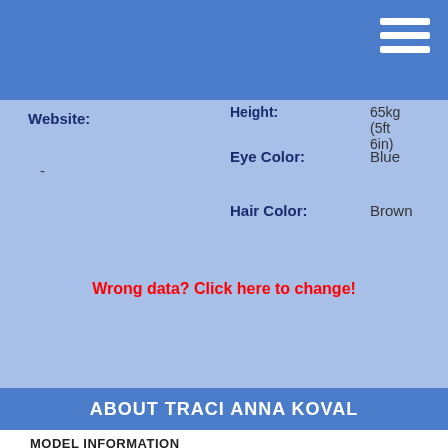Website:
-
Height: 65kg (5ft 6in)
Eye Color: Blue
Hair Color: Brown
Wrong data? Click here to change!
ABOUT TRACI ANNA KOVAL
MODEL INFORMATION
Traci Anna Koval is a well known Dutch Adult Model with Caucasian ethnicity. She was born on December 6 in Alkmaar, Limburg, Netherlands. Her Adult Model career has started in 2002. Besides the name Traci Anna Koval she`s also known as Traci Anna. She is famous for her slim sized body with big silicone boobs and a 36E (80E)-Cup. Her body measurements are 34D-24-34, her weight is 52kg/114lbs and she is 170cm (5ft 6in) tall. Traci Anna Koval has blue eyes and her natural hair color is